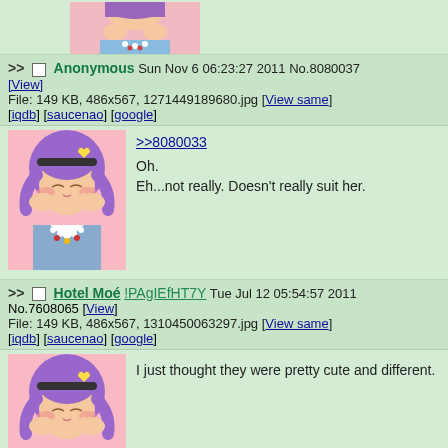[Figure (illustration): Partial top of an anime character image, cropped at top]
>> Anonymous Sun Nov 6 06:23:27 2011 No.8080037 [View]
File: 149 KB, 486x567, 1271449189680.jpg [View same] [iqdb] [saucenao] [google]
[Figure (illustration): Anime character with purple hair and yellow heart hair clip, blushing, pink background]
>>8080033
Oh.
Eh...not really. Doesn't really suit her.
>> Hotel Moé !PAgIEfHT7Y Tue Jul 12 05:54:57 2011 No.7608065 [View]
File: 149 KB, 486x567, 1310450063297.jpg [View same] [iqdb] [saucenao] [google]
[Figure (illustration): Anime character with purple hair and yellow heart hair clip, blushing, pink background (same character)]
I just thought they were pretty cute and different.